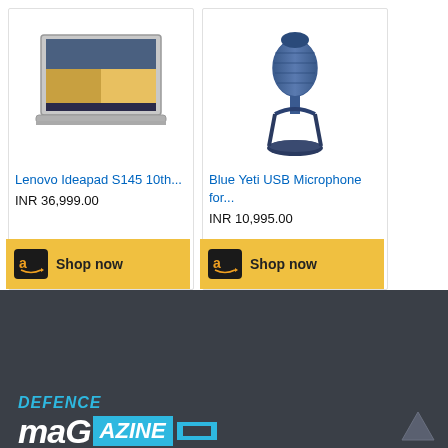[Figure (other): Lenovo Ideapad S145 laptop product image]
Lenovo Ideapad S145 10th...
INR 36,999.00
Shop now
[Figure (other): Blue Yeti USB Microphone product image]
Blue Yeti USB Microphone for...
INR 10,995.00
Shop now
[Figure (logo): Defence Magazine logo with DEFENCE text in cyan and MAG in white block, AZINE in cyan block]
Facebook | Twitter | LinkedIn | WhatsApp | Pinterest | Share